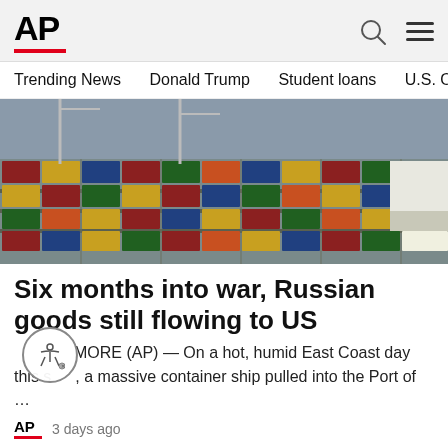AP
Trending News   Donald Trump   Student loans   U.S. Open Tenn
[Figure (photo): Aerial view of a busy container port with stacked colorful shipping containers and rail lines]
Six months into war, Russian goods still flowing to US
BALTIMORE (AP) — On a hot, humid East Coast day this summer, a massive container ship pulled into the Port of …
AP   3 days ago
Ad Content